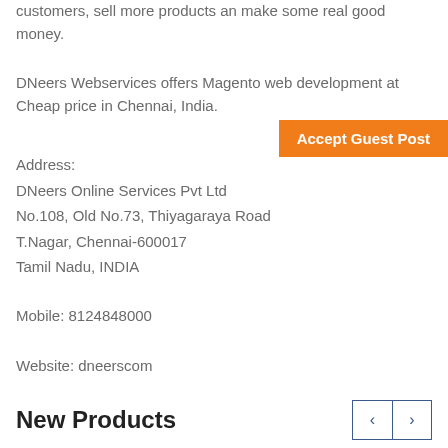customers, sell more products an make some real good money.
DNeers Webservices offers Magento web development at Cheap price in Chennai, India.
Accept Guest Post
Address:
DNeers Online Services Pvt Ltd
No.108, Old No.73, Thiyagaraya Road
T.Nagar, Chennai-600017
Tamil Nadu, INDIA
Mobile: 8124848000
Website: dneerscom
New Products